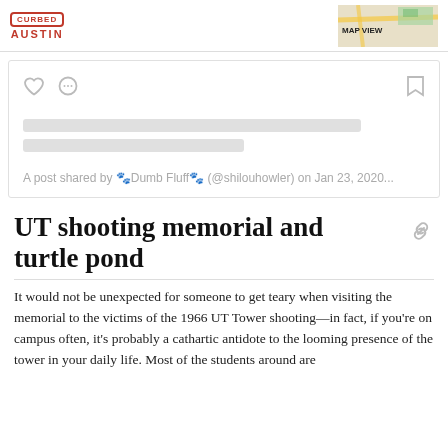CURBED AUSTIN | MAP VIEW
[Figure (screenshot): Instagram embed placeholder with heart/comment icons, two gray loading bars, and caption text: A post shared by 🐾Dumb Fluff🐾 (@shilouhowler) on Jan 23, 2020...]
A post shared by 🐾Dumb Fluff🐾 (@shilouhowler) on Jan 23, 2020...
UT shooting memorial and turtle pond
It would not be unexpected for someone to get teary when visiting the memorial to the victims of the 1966 UT Tower shooting—in fact, if you're on campus often, it's probably a cathartic antidote to the looming presence of the tower in your daily life. Most of the students around are